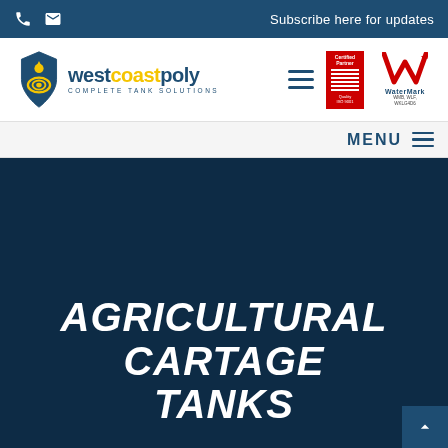Subscribe here for updates
[Figure (logo): West Coast Poly - Complete Tank Solutions logo with shield/droplet icon, text 'westcoastpoly' in navy and yellow, subtitle 'COMPLETE TANK SOLUTIONS', alongside ISO 9001 certification badge and WaterMark certification badge]
MENU
AGRICULTURAL CARTAGE TANKS